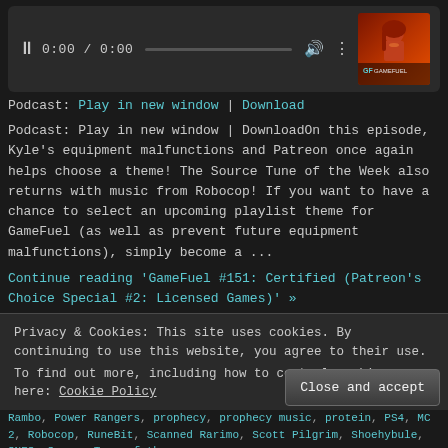[Figure (screenshot): Audio player bar with pause button, 0:00/0:00 time display, progress bar, volume icon, more options icon, and GameFuel podcast cover art thumbnail on the right]
Podcast: Play in new window | Download
Podcast: Play in new window | DownloadOn this episode, Kyle's equipment malfunctions and Patreon once again helps choose a theme! The Source Tune of the Week also returns with music from Robocop! If you want to have a chance to select an upcoming playlist theme for GameFuel (as well as prevent future equipment malfunctions), simply become a ...
Continue reading 'GameFuel #151: Certified (Patreon's Choice Special #2: Licensed Games)' »
Filed under GameFuel (Inactive) | Tagged Aladdin, Amazon, Andy Gilmour, Andy Gilmour & LMan, Angry Birds, Batman, Big Giant Circles, Biker Mice from Mars, Brian Davis,
Privacy & Cookies: This site uses cookies. By continuing to use this website, you agree to their use.
To find out more, including how to control cookies, see here: Cookie Policy
Close and accept